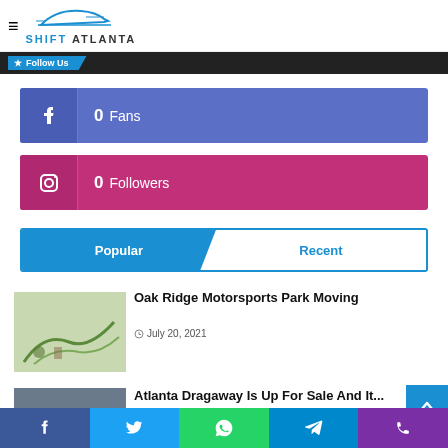SHIFT ATLANTA
Follow Us
0 Fans
0 Followers
Popular | Recent
Oak Ridge Motorsports Park Moving
July 20, 2021
Atlanta Dragaway Is Up For Sale And It...
Facebook Twitter WhatsApp Telegram Phone